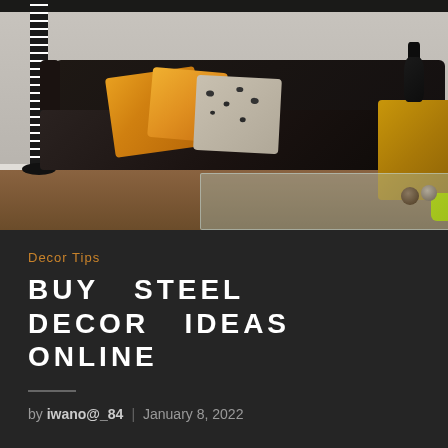[Figure (photo): Interior living room scene with a dark leather sofa, orange and spotted pillows, a spiral floor lamp, a yellow side table with a black vase, and a glass coffee table with green and decorative items on top.]
Decor Tips
BUY STEEL DECOR IDEAS ONLINE
by iwano@_84 | January 8, 2022